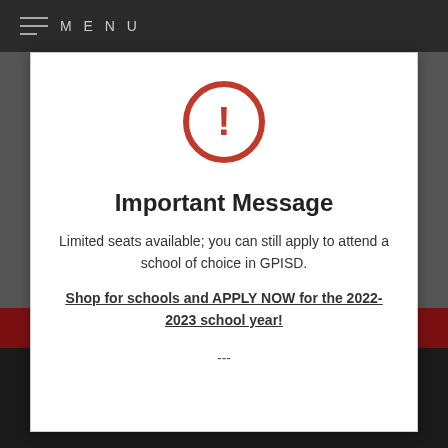MENU
[Figure (illustration): Red circle with exclamation mark warning icon]
Important Message
Limited seats available; you can still apply to attend a school of choice in GPISD.
Shop for schools and APPLY NOW for the 2022-2023 school year!
---
1160 W. Warrior Trail
Grand Prairie, TX 75050